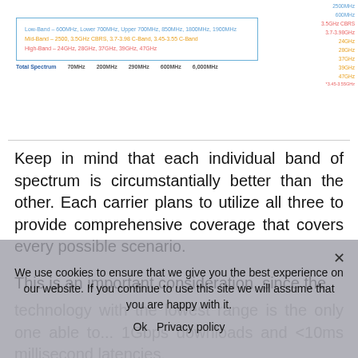[Figure (table-as-image): Spectrum bands table showing Low-Band, Mid-Band, High-Band categories with Total Spectrum row (70MHz, 200MHz, 290MHz, 600MHz, 6,000MHz), and right column listing frequency bands in gold, red, and blue colors.]
Keep in mind that each individual band of spectrum is circumstantially better than the other. Each carrier plans to utilize all three to provide comprehensive coverage that covers every possible scenario.
This is an important consideration, since the technology with the lowest range is the only one able to penetrate buildings, while the highest band technologies are the only ones fast enough for 1Gbps downloads and <10ms millisecond latencies.
We use cookies to ensure that we give you the best experience on our website. If you continue to use this site we will assume that you are happy with it.
Ok   Privacy policy